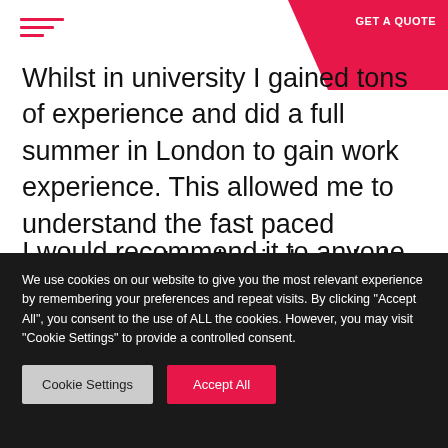Whilst in university I gained tons of experience and did a full summer in London to gain work experience. This allowed me to understand the fast paced environment and gain knowledge of how the industry works.
I would recommend it to anyone who's looking
We use cookies on our website to give you the most relevant experience by remembering your preferences and repeat visits. By clicking "Accept All", you consent to the use of ALL the cookies. However, you may visit "Cookie Settings" to provide a controlled consent.